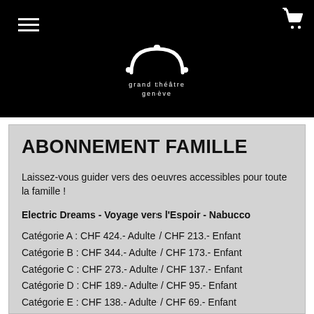[Figure (logo): Grand Théâtre Genève logo — white arch/dome shape with dots on black background, with text 'grand théâtre genève' below]
ABONNEMENT FAMILLE
Laissez-vous guider vers des oeuvres accessibles pour toute la famille !
Electric Dreams - Voyage vers l'Espoir - Nabucco
Catégorie A : CHF 424.- Adulte / CHF 213.- Enfant
Catégorie B : CHF 344.- Adulte / CHF 173.- Enfant
Catégorie C : CHF 273.- Adulte / CHF 137.- Enfant
Catégorie D : CHF 189.- Adulte / CHF 95.- Enfant
Catégorie E : CHF 138.- Adulte / CHF 69.- Enfant